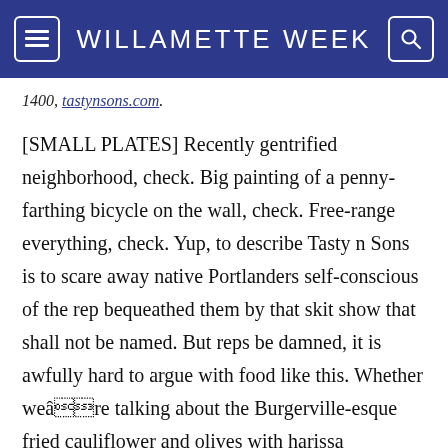WILLAMETTE WEEK
1400, tastynsons.com.
[SMALL PLATES] Recently gentrified neighborhood, check. Big painting of a penny-farthing bicycle on the wall, check. Free-range everything, check. Yup, to describe Tasty n Sons is to scare away native Portlanders self-conscious of the rep bequeathed them by that skit show that shall not be named. But reps be damned, it is awfully hard to argue with food like this. Whether weâre talking about the Burgerville-esque fried cauliflower and olives with harissa creamâthe secret is really in that thick orange sauce, but